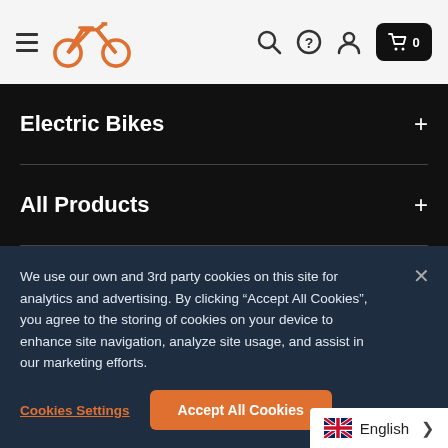Navigation header with hamburger menu, bicycle logo, search, help, account, and cart (0) icons
Electric Bikes +
All Products +
We use our own and 3rd party cookies on this site for analytics and advertising. By clicking “Accept All Cookies”, you agree to the storing of cookies on your device to enhance site navigation, analyze site usage, and assist in our marketing efforts.
Cookies Settings
Accept All Cookies
English